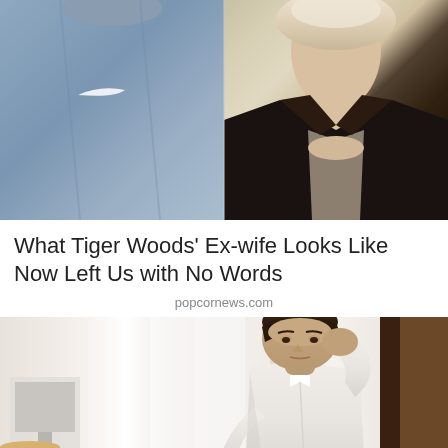[Figure (photo): Two people side by side: left person wearing a gray Nike athletic shirt, right person with blonde hair wearing a dark/black jacket]
What Tiger Woods' Ex-wife Looks Like Now Left Us with No Words
popcornews.com
[Figure (photo): A stressed or distressed young man in a white dress shirt, holding glasses, with his hand on his forehead, sitting at a desk with a computer monitor and coffee cup visible]